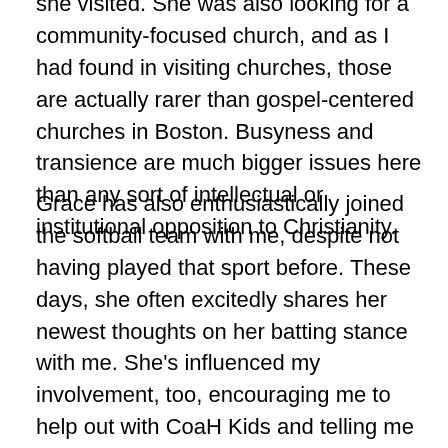she visited. She was also looking for a community-focused church, and as I had found in visiting churches, those are actually rarer than gospel-centered churches in Boston. Busyness and transience are much bigger issues here than any sort of intellectual or institutional opposition to Christianity.
Grace has also enthusiastically joined the softball team with me, despite not having played that sport before. These days, she often excitedly shares her newest thoughts on her batting stance with me. She's influenced my involvement, too, encouraging me to help out with CoaH Kids and telling me all of the cute things the kids say and do there. When she got baptized, it was a chance to share the church with all of our GCF friends; some came away with the impression of it as a younger, hipper version of Hope, which makes sense, given that we're a